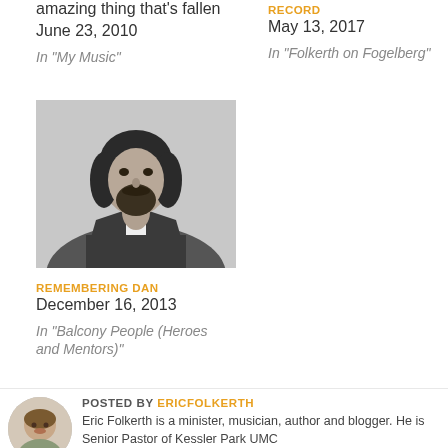amazing thing that's fallen
June 23, 2010
In "My Music"
RECORD
May 13, 2017
In "Folkerth on Fogelberg"
[Figure (photo): Black and white portrait photo of a man with dark hair and beard, wearing a denim jacket]
REMEMBERING DAN
December 16, 2013
In "Balcony People (Heroes and Mentors)"
POSTED BY ERICFOLKERTH
Eric Folkerth is a minister, musician, author and blogger. He is Senior Pastor of Kessler Park UMC